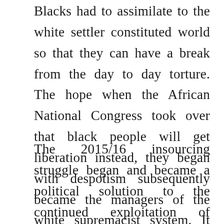Blacks had to assimilate to the white settler constituted world so that they can have a break from the day to day torture. The hope when the African National Congress took over that black people will get liberation instead, they began with despotism subsequently became the managers of the white supremacist system. It was in 1996 when the black government enacted legislation that allowed the ruling elites to outsource services.
The 2015/16 insourcing struggle began and became a political solution to the continued exploitation of workers, workers joined hands with student's leader, they were ready to give it all, earning little as R3000 per month. The struggle was indeed a mountain to climb sometimes it was faced with sporadic violence and merciless police brutality